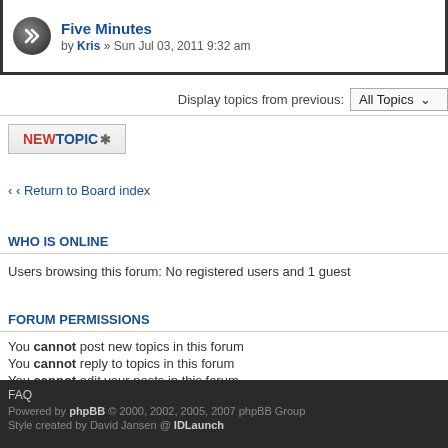Five Minutes
by Kris » Sun Jul 03, 2011 9:32 am
Display topics from previous: All Topics
NEWTOPIC ✱
‹ Return to Board index
WHO IS ONLINE
Users browsing this forum: No registered users and 1 guest
FORUM PERMISSIONS
You cannot post new topics in this forum
You cannot reply to topics in this forum
You cannot edit your posts in this forum
You cannot delete your posts in this forum
You cannot post attachments in this forum
Board index
FAQ
Powered by phpBB © 2000, 2002, 2005, 2007 phpBB Group
Style created by David Jansen @ IDLaunch